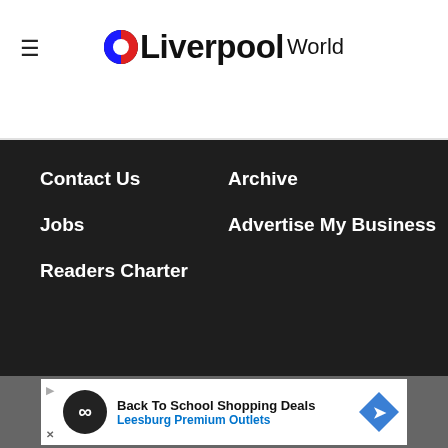Liverpool World
Contact Us
Archive
Jobs
Advertise My Business
Readers Charter
National World
©National World Publishing Ltd. All rights reserved.
Cookie Settings | Terms and Conditions | Privacy notice | Modern Slavery Statement
[Figure (infographic): Advertisement banner: Back To School Shopping Deals - Leesburg Premium Outlets]